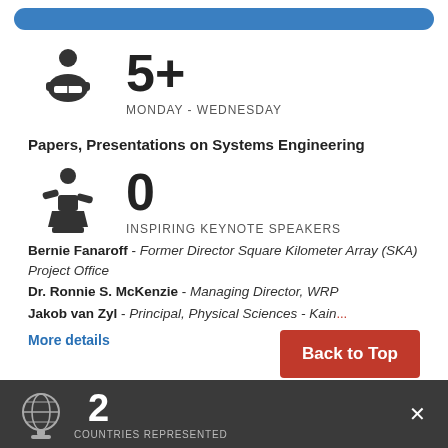[Figure (infographic): Blue rounded top bar decorative element]
[Figure (infographic): Person reading icon with 5+ MONDAY - WEDNESDAY stat]
5+
MONDAY - WEDNESDAY
Papers, Presentations on Systems Engineering
[Figure (infographic): Speaker at podium icon with 0 INSPIRING KEYNOTE SPEAKERS stat]
0
INSPIRING KEYNOTE SPEAKERS
Bernie Fanaroff - Former Director Square Kilometer Array (SKA) Project Office
Dr. Ronnie S. McKenzie - Managing Director, WRP
Jakob van Zyl - Principal, Physical Sciences - Kain...
More details
[Figure (infographic): Back to Top red button]
[Figure (infographic): Globe icon with 2 COUNTRIES REPRESENTED stat in dark footer bar]